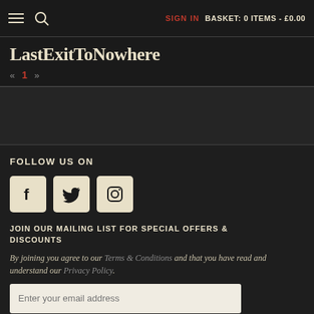SIGN IN   BASKET: 0 ITEMS - £0.00
LastExitToNowhere
« 1 »
FOLLOW US ON
[Figure (other): Social media icons: Facebook, Twitter, Instagram]
JOIN OUR MAILING LIST FOR SPECIAL OFFERS & DISCOUNTS
By joining you agree to our Terms & Conditions and that you have read and understand our Privacy Policy.
Enter your email address
SUBMIT